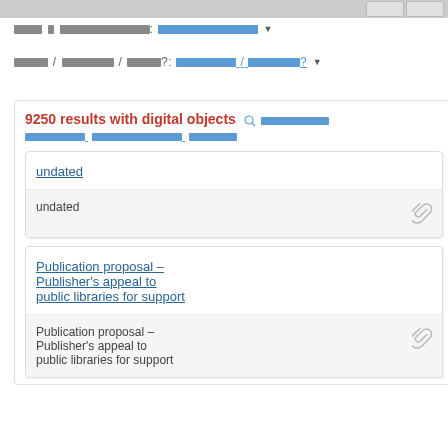███ █████████████: ████████████ ▼
████/ ████████/ █████?: █████████/ ████████? ▼
9250 results with digital objects 🔍█████████ █████████ ████████████████ ██████
undated
undated 📎
Publication proposal – Publisher's appeal to public libraries for support
Publication proposal – Publisher's appeal to public libraries for support 📎